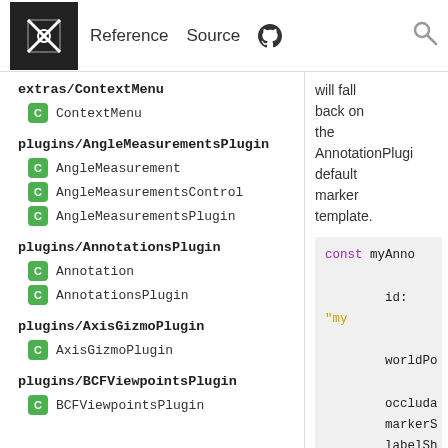Reference  Source  [github icon]  [search icon]
extras/ContextMenu
C  ContextMenu
plugins/AngleMeasurementsPlugin
C  AngleMeasurement
C  AngleMeasurementsControl
C  AngleMeasurementsPlugin
plugins/AnnotationsPlugin
C  Annotation
C  AnnotationsPlugin
plugins/AxisGizmoPlugin
C  AxisGizmoPlugin
plugins/BCFViewpointsPlugin
C  BCFViewpointsPlugin
will fall back on the AnnotationPlugin default marker template.
[Figure (screenshot): Code snippet showing: const myAnno with id: "my", worldPo..., occluda..., markerS..., labelSh...]